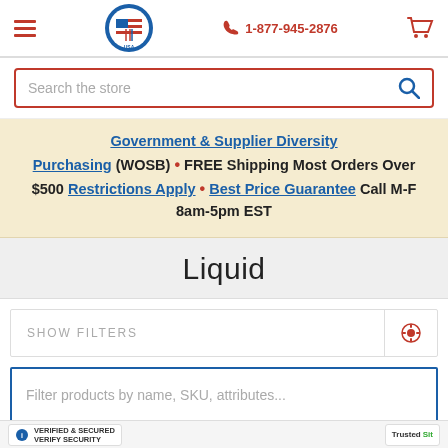[Figure (screenshot): Website header with hamburger menu, logo (Buying Made USA), phone number 1-877-945-2876, and shopping cart icon]
[Figure (screenshot): Search bar with placeholder text 'Search the store' and magnifying glass icon]
Government & Supplier Diversity Purchasing (WOSB) • FREE Shipping Most Orders Over $500 Restrictions Apply • Best Price Guarantee Call M-F 8am-5pm EST
Liquid
SHOW FILTERS
Filter products by name, SKU, attributes...
VERIFIED & SECURED VERIFY SECURITY | TrustedSite